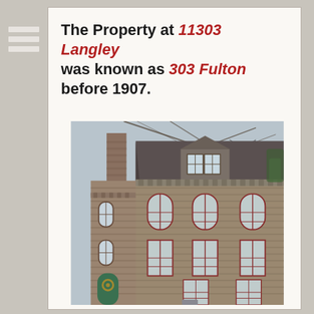The Property at 11303 Langley was known as 303 Fulton before 1907.
[Figure (photo): Photograph of a multi-story brick building at 11303 Langley (formerly 303 Fulton), showing a mansard roof with dormer windows, arched windows on upper floors, and a green front door at ground level.]